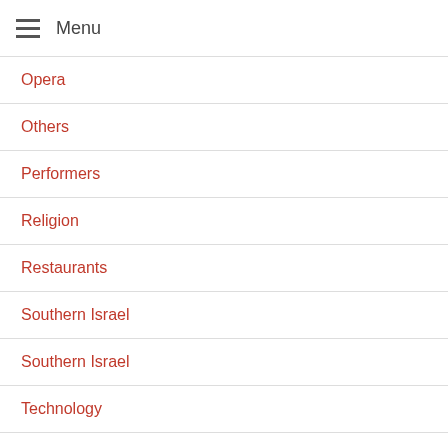Menu
Opera
Others
Performers
Religion
Restaurants
Southern Israel
Southern Israel
Technology
The Bible and places in Israel
Tips of the Top in Israel